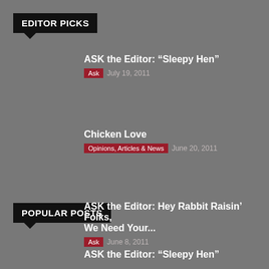EDITOR PICKS
ASK the Editor: “Sleepy Hen” | Ask | July 19, 2011
Chicken Love | Opinions, Articles & News | June 20, 2011
ASK the Editor: Hey Rabbit Raisin’ Folks, We Need Your... | Ask | June 8, 2011
POPULAR POSTS
ASK the Editor: “Sleepy Hen”